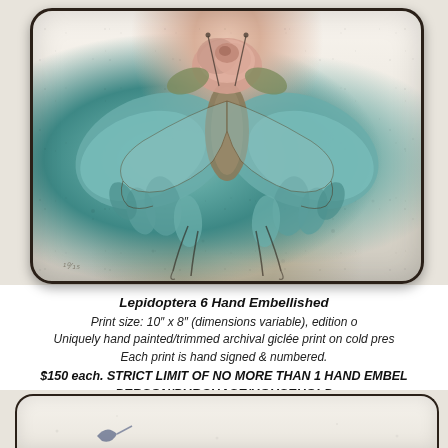[Figure (illustration): Close-up of an artistic card or tile featuring a detailed illustration of a butterfly/Lepidoptera with floral elements (roses and ornate petals) in teal, pink, and gold tones on a textured cream/ivory background with rounded corners and dark border.]
Lepidoptera 6 Hand Embellished
Print size: 10″ x 8″ (dimensions variable), edition o
Uniquely hand painted/trimmed archival giclée print on cold pres
Each print is hand signed & numbered.
$150 each. STRICT LIMIT OF NO MORE THAN 1 HAND EMBEL
PERSON/PURCHASE/HOUSEHOLD
To purchase this or other available artwork, please swing
[Figure (illustration): Partial view of a second artistic card or tile, similarly styled with textured cream background and dark rounded border, with a small mark/doodle visible.]